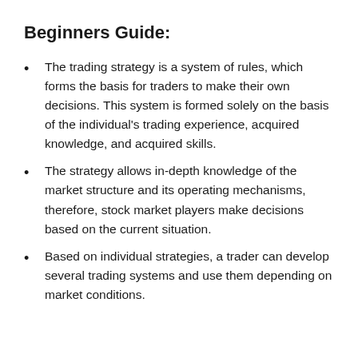Beginners Guide:
The trading strategy is a system of rules, which forms the basis for traders to make their own decisions. This system is formed solely on the basis of the individual's trading experience, acquired knowledge, and acquired skills.
The strategy allows in-depth knowledge of the market structure and its operating mechanisms, therefore, stock market players make decisions based on the current situation.
Based on individual strategies, a trader can develop several trading systems and use them depending on market conditions.